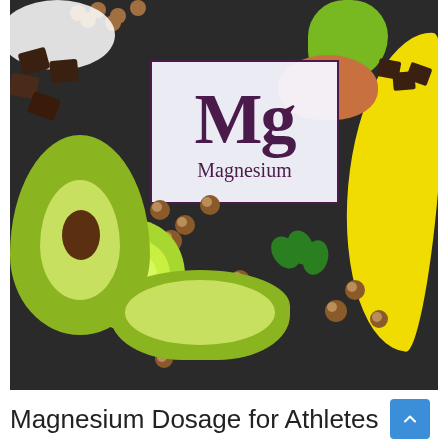[Figure (photo): Magnesium-rich foods arranged on a dark background including avocado, banana, hazelnuts, dark chocolate, cabbage/lettuce, and parsley, with a periodic-table style card in the center showing 'Mg' and 'Magnesium' in purple text]
Magnesium Dosage for Athletes